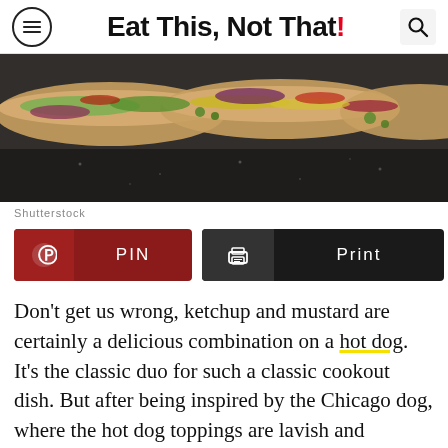Eat This, Not That!
[Figure (photo): Overhead/close-up photo of several hot dogs in buns with colorful toppings including lettuce, onions, relish, and other condiments on a dark surface]
Shutterstock
[Figure (other): Three action buttons: Pinterest PIN button (dark red), Print button (dark/black), and a Share button (gray)]
Don't get us wrong, ketchup and mustard are certainly a delicious combination on a hot dog. It's the classic duo for such a classic cookout dish. But after being inspired by the Chicago dog, where the hot dog toppings are lavish and